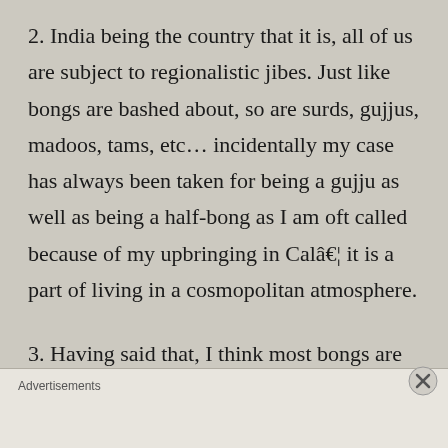2. India being the country that it is, all of us are subject to regionalistic jibes. Just like bongs are bashed about, so are surds, gujjus, madoos, tams, etc... incidentally my case has always been taken for being a gujju as well as being a half-bong as I am oft called because of my upbringing in Calâ€¦ it is a part of living in a cosmopolitan atmosphere.
3. Having said that, I think most bongs are too passionate and touch more than their case
Advertisements